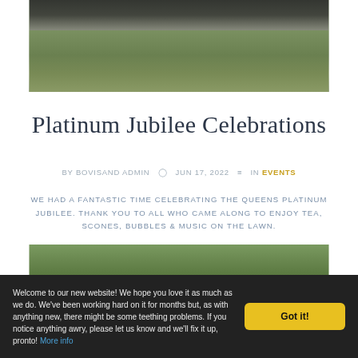[Figure (photo): Outdoor photo showing a grassy field with dark metal fence/railing structures at the top]
Platinum Jubilee Celebrations
BY BOVISAND ADMIN  ⊙  JUN 17, 2022  ≡  IN EVENTS
WE HAD A FANTASTIC TIME CELEBRATING THE QUEENS PLATINUM JUBILEE. THANK YOU TO ALL WHO CAME ALONG TO ENJOY TEA, SCONES, BUBBLES & MUSIC ON THE LAWN.
[Figure (photo): Partial outdoor photo visible at bottom of main content area]
Welcome to our new website! We hope you love it as much as we do. We've been working hard on it for months but, as with anything new, there might be some teething problems. If you notice anything awry, please let us know and we'll fix it up, pronto! More info